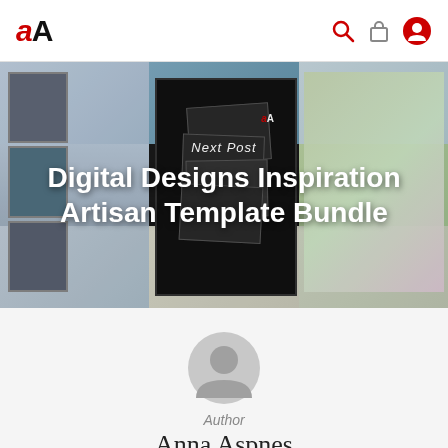aA
[Figure (photo): Website banner showing a collage of digital scrapbooking layouts with photo strips, watercolor art, and template previews. Overlaid text reads 'Next Post' and 'Digital Designs Inspiration Artisan Template Bundle']
Next Post
Digital Designs Inspiration Artisan Template Bundle
[Figure (illustration): Circular gray default user avatar icon]
Author
Anna Aspnes